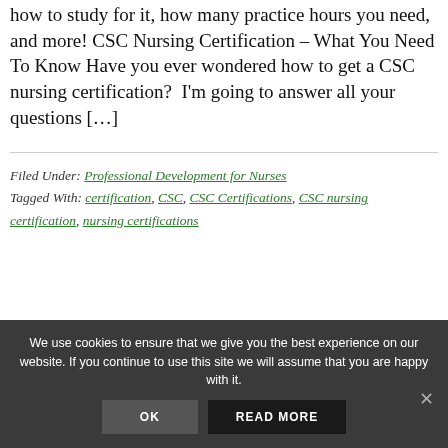how to study for it, how many practice hours you need, and more! CSC Nursing Certification – What You Need To Know Have you ever wondered how to get a CSC nursing certification?  I'm going to answer all your questions […]
Filed Under: Professional Development for Nurses
Tagged With: certification, CSC, CSC Certifications, CSC nursing certification, nursing certifications
We use cookies to ensure that we give you the best experience on our website. If you continue to use this site we will assume that you are happy with it.